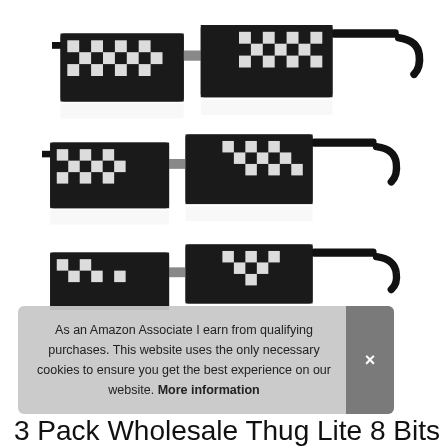[Figure (photo): Three pairs of pixelated 8-bit style 'Thug Life' sunglasses with black frames and checkered pixel pattern on lenses, stacked vertically on white background with reflections]
As an Amazon Associate I earn from qualifying purchases. This website uses the only necessary cookies to ensure you get the best experience on our website. More information
3 Pack Wholesale Thug Lite 8 Bits